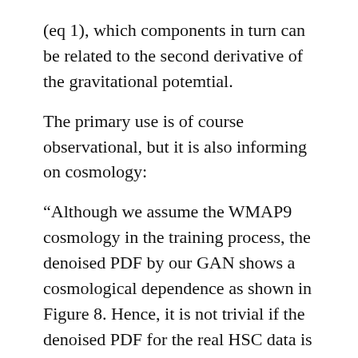(eq 1), which components in turn can be related to the second derivative of the gravitational potemtial.
The primary use is of course observational, but it is also informing on cosmology:
“Although we assume the WMAP9 cosmology in the training process, the denoised PDF by our GAN shows a cosmological dependence as shown in Figure 8. Hence, it is not trivial if the denoised PDF for the real HSC data is consistent with the WMAP9 cosmology…. This indicates that our GANs extract some cosmological information hidden by observational noises.”